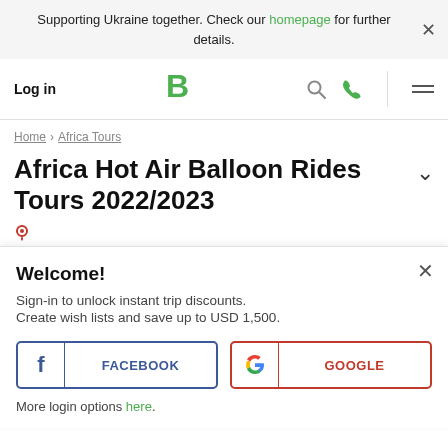Supporting Ukraine together. Check our homepage for further details.
Log in
[Figure (logo): Intrepid Travel green B logo]
Home › Africa Tours
Africa Hot Air Balloon Rides Tours 2022/2023
Welcome!
Sign-in to unlock instant trip discounts.
Create wish lists and save up to USD 1,500.
FACEBOOK
GOOGLE
More login options here.